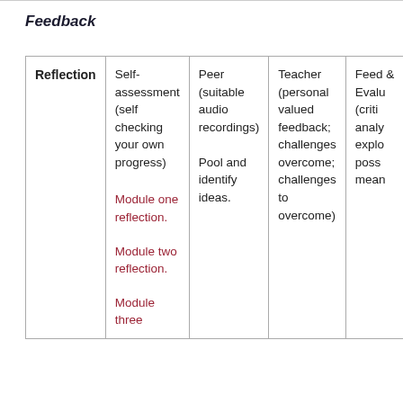Feedback
| Reflection | Self-assessment (self checking your own progress) | Peer (suitable audio recordings)

Pool and identify ideas. | Teacher (personal valued feedback; challenges overcome; challenges to overcome) | Feed & Evalu (criti analy explo poss mean |
| --- | --- | --- | --- | --- |
| Reflection | Self-assessment (self checking your own progress)

Module one reflection.

Module two reflection.

Module three | Peer (suitable audio recordings)

Pool and identify ideas. | Teacher (personal valued feedback; challenges overcome; challenges to overcome) | Feed & Evalu (criti analy explo poss mean |